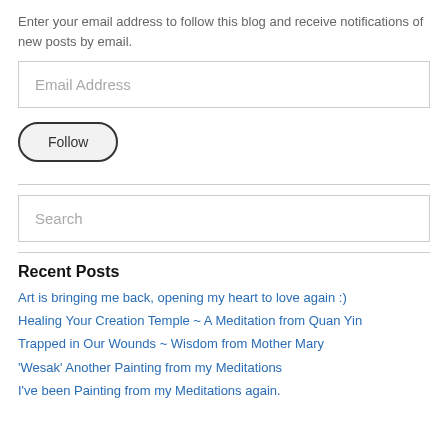Enter your email address to follow this blog and receive notifications of new posts by email.
[Figure (other): Email Address input field placeholder]
[Figure (other): Follow button with rounded border]
[Figure (other): Search input field placeholder]
Recent Posts
Art is bringing me back, opening my heart to love again :)
Healing Your Creation Temple ~ A Meditation from Quan Yin
Trapped in Our Wounds ~ Wisdom from Mother Mary
'Wesak' Another Painting from my Meditations
I've been Painting from my Meditations again.